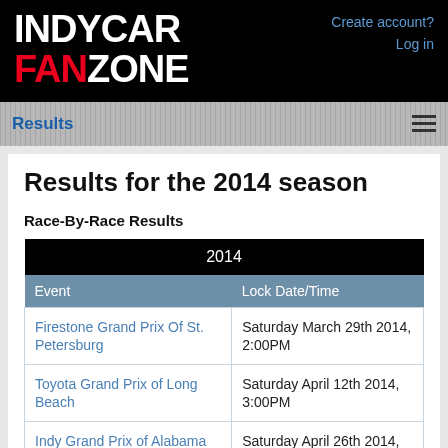INDYCAR FANZONE
Create account? Log in
Results
Results for the 2014 season
Race-By-Race Results
| Event | Lock Date/Time |
| --- | --- |
| Firestone Grand Prix Of St. Petersburg | Saturday March 29th 2014, 2:00PM |
| Toyota Grand Prix of Long Beach | Saturday April 12th 2014, 3:00PM |
| Indy Grand Prix of Alabama | Saturday April 26th 2014, 2:00PM |